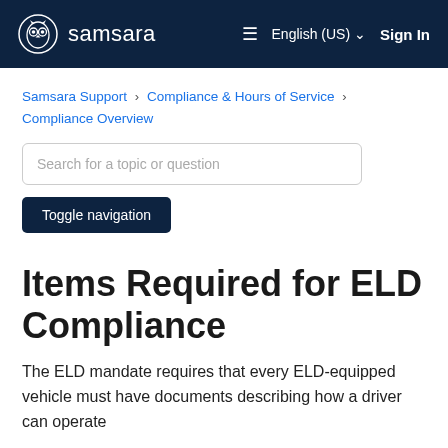samsara  ≡  English (US) ∨  Sign In
Samsara Support › Compliance & Hours of Service › Compliance Overview
Search for a topic or question
Toggle navigation
Items Required for ELD Compliance
The ELD mandate requires that every ELD-equipped vehicle must have documents describing how a driver can operate